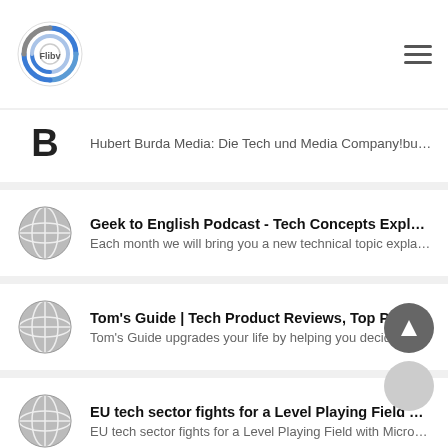[Figure (logo): App logo — circular blue/grey shield-like icon with concentric arcs]
Hubert Burda Media: Die Tech und Media Company!burdanews...
Geek to English Podcast - Tech Concepts Explain...
Each month we will bring you a new technical topic explained i...
Tom's Guide | Tech Product Reviews, Top Picks a...
Tom's Guide upgrades your life by helping you decide what tec...
EU tech sector fights for a Level Playing Field wit...
EU tech sector fights for a Level Playing Field with Microsoftant...
Beebom - Tech That Matters